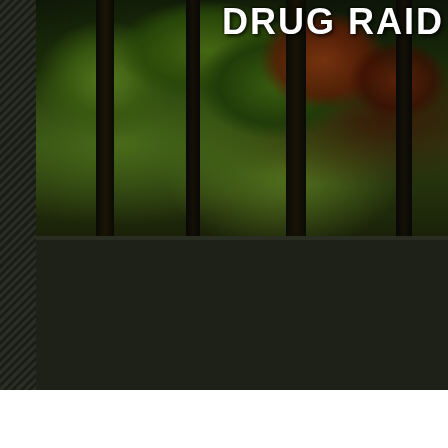[Figure (photo): Book or document cover with dark background. Upper portion shows a forest photograph with pine/conifer trees, green and reddish-brown foliage against dark trunks. The word 'DRUG RAID' appears in large bold white uppercase text overlaid on the upper right of the forest photo. The lower portion of the cover is dark/black. A diagonal-stripe pattern runs along the left edge. The bottom of the image transitions to a white area.]